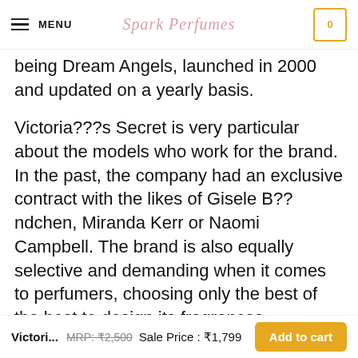MENU | Spark Perfumes | 0
being Dream Angels, launched in 2000 and updated on a yearly basis.
Victoria???s Secret is very particular about the models who work for the brand. In the past, the company had an exclusive contract with the likes of Gisele B??ndchen, Miranda Kerr or Naomi Campbell. The brand is also equally selective and demanding when it comes to perfumers, choosing only the best of the best to design its fragrances.
Apart from the perfumes, Victoria???s Secret also
Victori... MRP: ₹2,500 Sale Price : ₹1,799 Add to cart